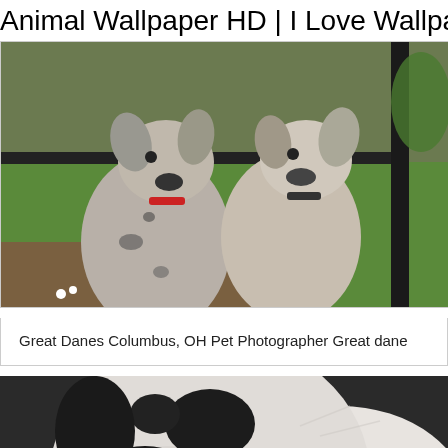Animal Wallpaper HD | I Love Wallpap
[Figure (photo): Two Great Dane puppies with grey and black spotted coats sitting on grass near a fence]
Great Danes Columbus, OH Pet Photographer Great dane
[Figure (photo): Close-up of a white Great Dane dog with black spots on its nose, smiling with mouth open showing teeth]